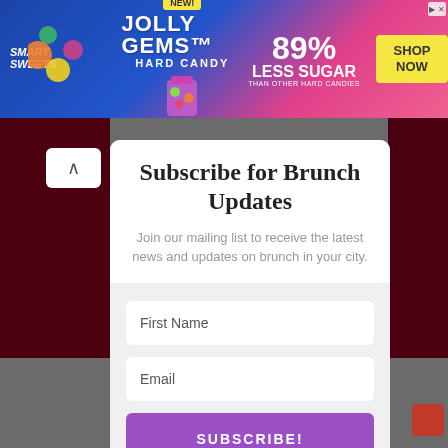[Figure (photo): SmartSweets Jolly Gems Hard Candy advertisement banner with colorful candy imagery, 89% less sugar claim, and Shop Now button]
Subscribe for Brunch Updates
Join our mailing list to receive the latest news and updates on brunch in your city.
First Name
Email
SUBSCRIBE!